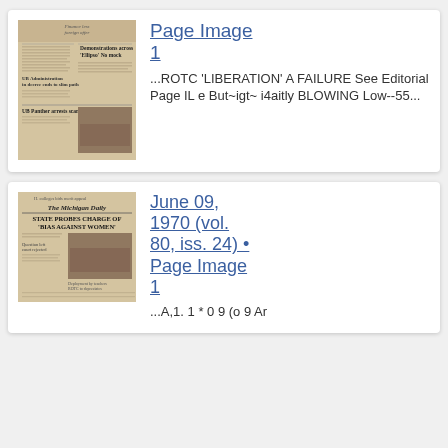[Figure (photo): Thumbnail of a newspaper front page showing columns of text and a photograph, yellowed/aged appearance]
Page Image 1
...ROTC 'LIBERATION' A FAILURE See Editorial Page IL e But~igt~ i4aitly BLOWING Low--55...
[Figure (photo): Thumbnail of a newspaper front page titled 'The Michigan Daily' with headline 'STATE PROBES CHARGE OF BIAS AGAINST WOMEN', yellowed/aged appearance]
June 09, 1970 (vol. 80, iss. 24) • Page Image 1
...A,1. 1 * 0 9 (o 9 Ar